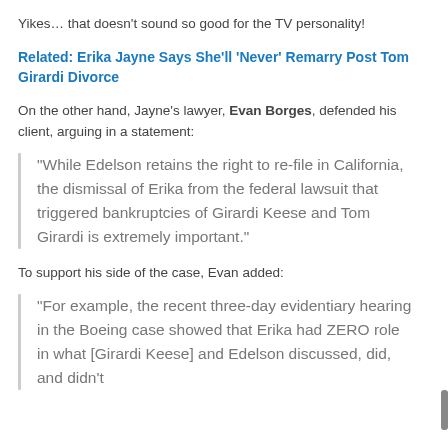Yikes… that doesn't sound so good for the TV personality!
Related: Erika Jayne Says She'll 'Never' Remarry Post Tom Girardi Divorce
On the other hand, Jayne's lawyer, Evan Borges, defended his client, arguing in a statement:
“While Edelson retains the right to re-file in California, the dismissal of Erika from the federal lawsuit that triggered bankruptcies of Girardi Keese and Tom Girardi is extremely important.”
To support his side of the case, Evan added:
“For example, the recent three-day evidentiary hearing in the Boeing case showed that Erika had ZERO role in what [Girardi Keese] and Edelson discussed, did, and didn’t